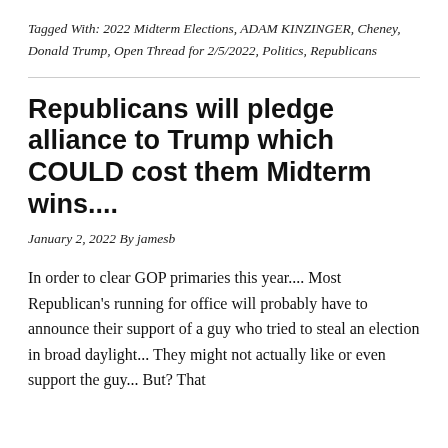Tagged With: 2022 Midterm Elections, ADAM KINZINGER, Cheney, Donald Trump, Open Thread for 2/5/2022, Politics, Republicans
Republicans will pledge alliance to Trump which COULD cost them Midterm wins....
January 2, 2022 By jamesb
In order to clear GOP primaries this year.... Most Republican's running for office will probably have to announce their support of a guy who tried to steal an election in broad daylight... They might not actually like or even support the guy... But? That